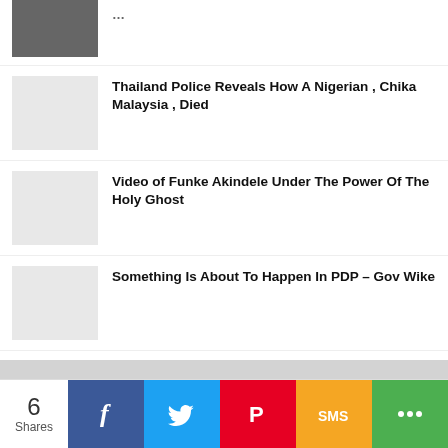Thailand Police Reveals How A Nigerian , Chika Malaysia , Died
Video of Funke Akindele Under The Power Of The Holy Ghost
Something Is About To Happen In PDP – Gov Wike
IZE-IYAMU :The Truth About Oshiomhole 's Insults During 2016 Election
6 Shares